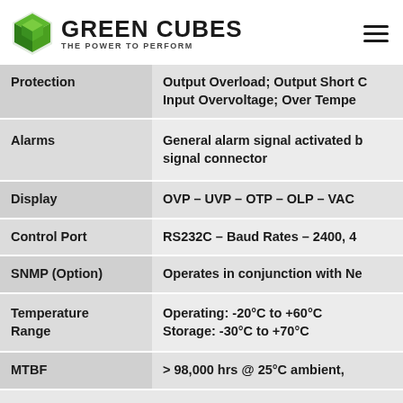GREEN CUBES — THE POWER TO PERFORM
| Feature | Description |
| --- | --- |
| Protection | Output Overload; Output Short Circuit; Input Overvoltage; Over Temperature |
| Alarms | General alarm signal activated by relay on signal connector |
| Display | OVP – UVP – OTP – OLP – VAC |
| Control Port | RS232C – Baud Rates – 2400, 4800… |
| SNMP (Option) | Operates in conjunction with Network… |
| Temperature Range | Operating: -20°C to +60°C
Storage: -30°C to +70°C |
| MTBF | > 98,000 hrs @ 25°C ambient, |
DESIGN STANDARDS